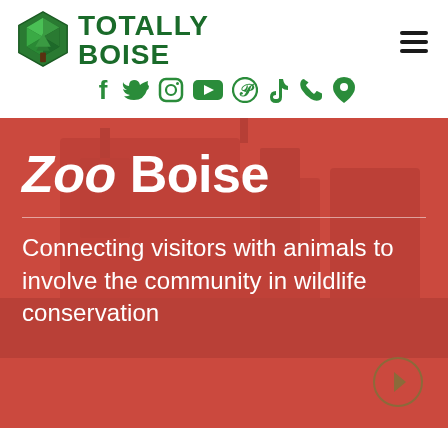[Figure (logo): Totally Boise logo: green hexagonal gem icon with tree, beside bold green text 'TOTALLY BOISE']
[Figure (infographic): Row of social media icons in green: Facebook, Twitter, Instagram, YouTube, Pinterest, TikTok, Phone, Location]
Zoo Boise
Connecting visitors with animals to involve the community in wildlife conservation